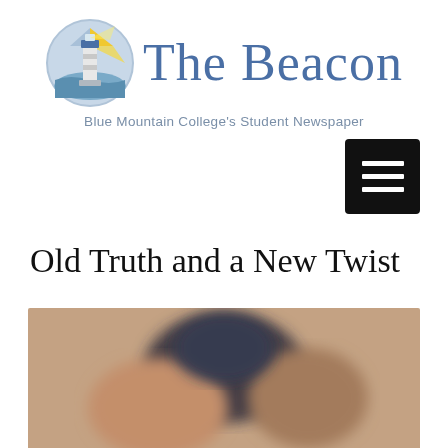[Figure (logo): The Beacon logo: lighthouse icon in a circle with blue/gray/yellow colors, beside large blue-gray text 'The Beacon']
Blue Mountain College's Student Newspaper
[Figure (other): Hamburger menu button (three horizontal lines on black square background)]
Old Truth and a New Twist
[Figure (photo): A blurred photograph of people, with dark and warm tones, partially visible at the bottom of the page]